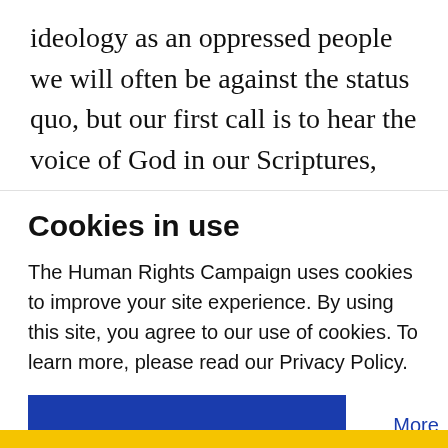ideology as an oppressed people we will often be against the status quo, but our first call is to hear the voice of God in our Scriptures, and where an issue clearly contradicts our understanding of Scripture, we have to apply that understanding."
Cookies in use
The Human Rights Campaign uses cookies to improve your site experience. By using this site, you agree to our use of cookies. To learn more, please read our Privacy Policy.
Accept
More Information